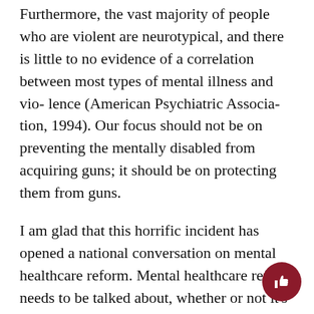Furthermore, the vast majority of people who are violent are neurotypical, and there is little to no evidence of a correlation between most types of mental illness and vio- lence (American Psychiatric Associa- tion, 1994). Our focus should not be on preventing the mentally disabled from acquiring guns; it should be on protecting them from guns.
I am glad that this horrific incident has opened a national conversation on mental healthcare reform. Mental healthcare reform needs to be talked about, whether or not it's relevant to the Navy Yard shooting; on this point I agree entirely with the column.
The reform that the author and I seek, however, is only going to happen when we stop vilifying people with mental disabilities. By calling them “cra zy” (which, by the way, is considered a slur against the neuro-atypi and equating them to out-of-control murderers, we d